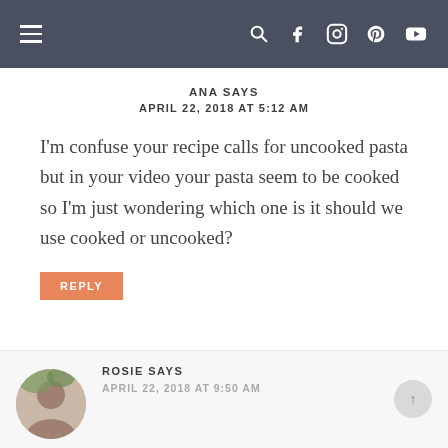Navigation bar with hamburger menu and social icons
ANA SAYS
APRIL 22, 2018 AT 5:12 AM
I'm confuse your recipe calls for uncooked pasta but in your video your pasta seem to be cooked so I'm just wondering which one is it should we use cooked or uncooked?
REPLY
ROSIE SAYS
APRIL 22, 2018 AT 9:50 AM